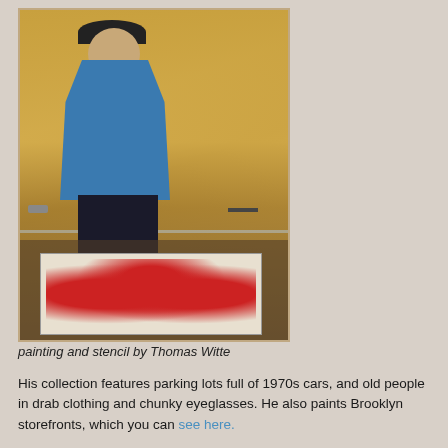[Figure (photo): A painting of an older man wearing a black hat and blue jacket, standing in front of a plywood wall. Below him on the floor is a stencil artwork with red figures on a light background, displayed under glass.]
painting and stencil by Thomas Witte
His collection features parking lots full of 1970s cars, and old people in drab clothing and chunky eyeglasses. He also paints Brooklyn storefronts, which you can see here.